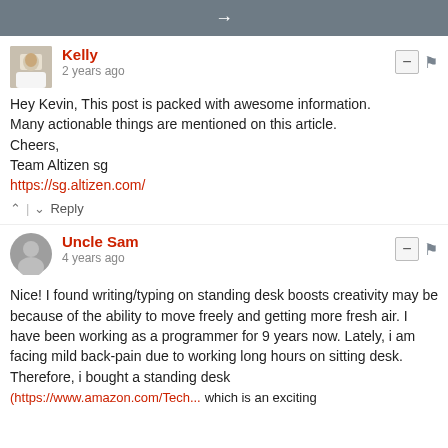[Figure (other): Navigation bar with right arrow icon on grey background]
Kelly
2 years ago
Hey Kevin, This post is packed with awesome information.
Many actionable things are mentioned on this article.
Cheers,
Team Altizen sg
https://sg.altizen.com/
↑ | ↓  Reply
Uncle Sam
4 years ago
Nice! I found writing/typing on standing desk boosts creativity may be because of the ability to move freely and getting more fresh air. I have been working as a programmer for 9 years now. Lately, i am facing mild back-pain due to working long hours on sitting desk. Therefore, i bought a standing desk (https://www.amazon.com/Tech... which is an exciting